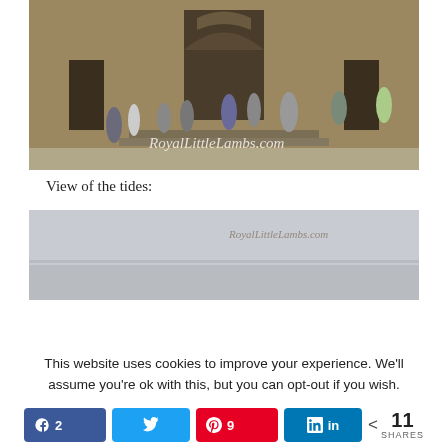[Figure (photo): People walking in front of a large stone cathedral/church building. Watermark reads 'RoyalLittleLambs.com']
View of the tides:
[Figure (photo): Misty/foggy view of tides, gray and hazy landscape. Watermark reads 'RoyalLittleLambs.com']
This website uses cookies to improve your experience. We'll assume you're ok with this, but you can opt-out if you wish.
2  [Facebook share]  [Twitter share]  9 [Pinterest share]  [LinkedIn share]  < 11 SHARES